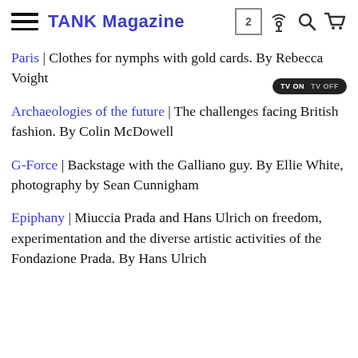TANK Magazine
Paris | Clothes for nymphs with gold cards. By Rebecca Voight
Archaeologies of the future | The challenges facing British fashion. By Colin McDowell
G-Force | Backstage with the Galliano guy. By Ellie White, photography by Sean Cunnigham
Epiphany | Miuccia Prada and Hans Ulrich on freedom, experimentation and the diverse artistic activities of the Fondazione Prada. By Hans Ulrich